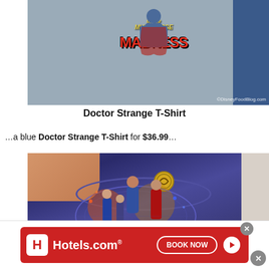[Figure (photo): Doctor Strange in the Multiverse of Madness gray t-shirt displayed on a hanger with colorful graphic, red shirt visible on left, blue shirt on right, DisneyFoodBlog.com watermark]
Doctor Strange T-Shirt
...a blue Doctor Strange T-Shirt for $36.99...
[Figure (photo): Blue Doctor Strange in the Multiverse of Madness t-shirt being held up, showing colorful group character graphic on front with circular mandala design]
[Figure (other): Hotels.com advertisement banner with red background, Hotels.com logo, and BOOK NOW button]